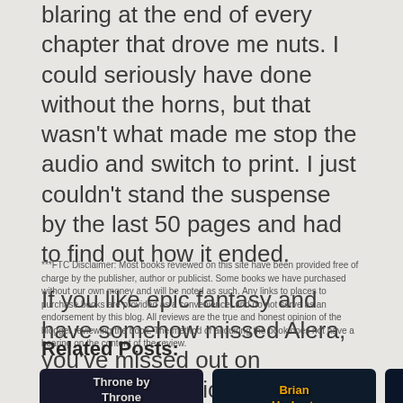blaring at the end of every chapter that drove me nuts. I could seriously have done without the horns, but that wasn't what made me stop the audio and switch to print. I just couldn't stand the suspense by the last 50 pages and had to find out how it ended.
If you like epic fantasy and have somehow missed Alera, you've missed out on something terrific. And the series is complete, so you can read the whole thing all at once without having to wait. Treat!!!
***FTC Disclaimer: Most books reviewed on this site have been provided free of charge by the publisher, author or publicist. Some books we have purchased with our own money and will be noted as such. Any links to places to purchase books are provided as a convenience, and do not serve as an endorsement by this blog. All reviews are the true and honest opinion of the blogger reviewing the book. The method of acquiring the book does not have a bearing on the content of the review.
Related Posts:
[Figure (photo): Book cover: Throne by Throne by Jeffe Kennedy, dark fantasy cover]
[Figure (photo): Book cover: Brian Herbert, Kevin J..., Dune: House of Caladan]
[Figure (photo): Book cover: Howard Andrew Jones, dark fantasy cover]